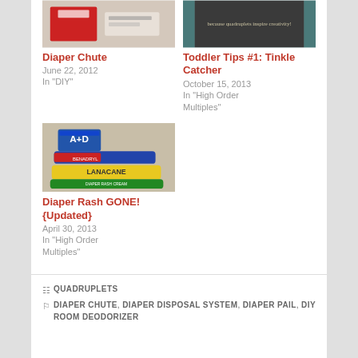[Figure (photo): Top-left blog post thumbnail image for Diaper Chute]
Diaper Chute
June 22, 2012
In "DIY"
[Figure (photo): Top-right blog post thumbnail for Toddler Tips #1: Tinkle Catcher with teal/dark banner]
Toddler Tips #1: Tinkle Catcher
October 15, 2013
In "High Order Multiples"
[Figure (photo): Photo of A+D ointment and Lanacane tubes on a surface for Diaper Rash blog post]
Diaper Rash GONE! {Updated}
April 30, 2013
In "High Order Multiples"
QUADRUPLETS
DIAPER CHUTE, DIAPER DISPOSAL SYSTEM, DIAPER PAIL, DIY ROOM DEODORIZER